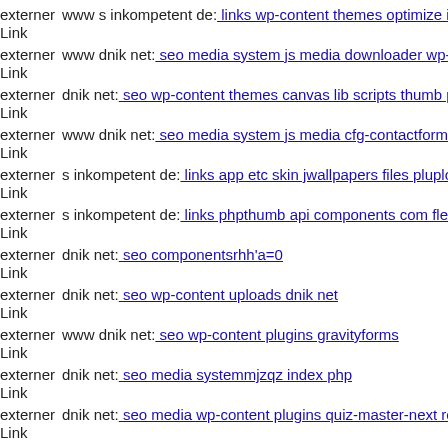externer Link  www s inkompetent de: links wp-content themes optimize i
externer Link  www dnik net: seo media system js media downloader wp-i
externer Link  dnik net: seo wp-content themes canvas lib scripts thumb ph
externer Link  www dnik net: seo media system js media cfg-contactform-
externer Link  s inkompetent de: links app etc skin jwallpapers files pluplo
externer Link  s inkompetent de: links phpthumb api components com flex
externer Link  dnik net: seo componentsrhh'a=0
externer Link  dnik net: seo wp-content uploads dnik net
externer Link  www dnik net: seo wp-content plugins gravityforms
externer Link  dnik net: seo media systemmjzqz index php
externer Link  dnik net: seo media wp-content plugins quiz-master-next re
externer Link  ...